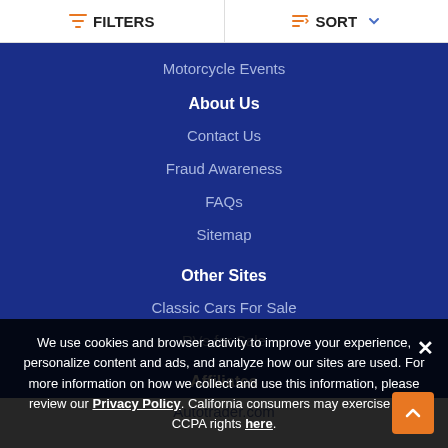FILTERS   SORT
Motorcycle Events
About Us
Contact Us
Fraud Awareness
FAQs
Sitemap
Other Sites
Classic Cars For Sale
RVs for Sale
Affiliates
Autotrader.com
We use cookies and browser activity to improve your experience, personalize content and ads, and analyze how our sites are used. For more information on how we collect and use this information, please review our Privacy Policy. California consumers may exercise their CCPA rights here.